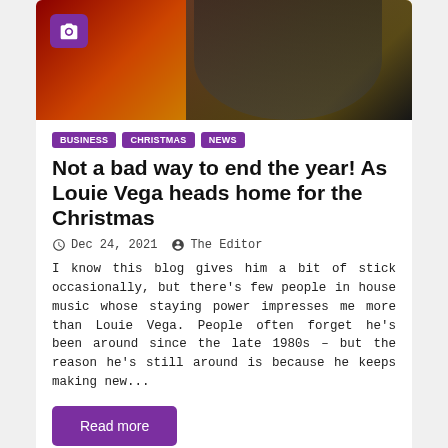[Figure (photo): Partial photo of a man in a black t-shirt with a yellow logo, against a warm red/orange/gold background, with a purple camera icon overlay in the top-left]
BUSINESS
CHRISTMAS
NEWS
Not a bad way to end the year! As Louie Vega heads home for the Christmas
Dec 24, 2021   The Editor
I know this blog gives him a bit of stick occasionally, but there's few people in house music whose staying power impresses me more than Louie Vega. People often forget he's been around since the late 1980s – but the reason he's still around is because he keeps making new...
Read more
HISTORY
HUMOUR
LIGHTER NEWS
The bla...